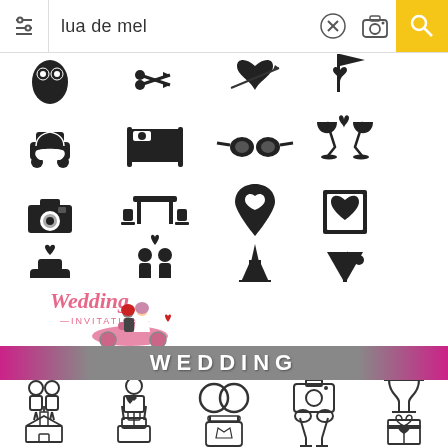[Figure (screenshot): Mobile search bar with text 'lua de mel', filter icon on left, X button, camera icon, and yellow search button on right]
[Figure (screenshot): Grid of black silhouette honeymoon/romance icons including cars, beds, cameras, Paris tower, cocktails, heart-shaped items, couples]
[Figure (illustration): Wedding invitation illustration with couple on pink scooter/moped, woman in white dress and man in suit, text 'Wedding INVITATION']
[Figure (screenshot): Gray banner with white bold text 'WEDDING' and grid of outline wedding icons below including couple, rings, cake, champagne glasses, bouquet, church, luggage]